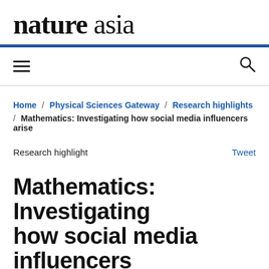nature asia
Home / Physical Sciences Gateway / Research highlights / Mathematics: Investigating how social media influencers arise
Research highlight
Tweet
Mathematics: Investigating how social media influencers